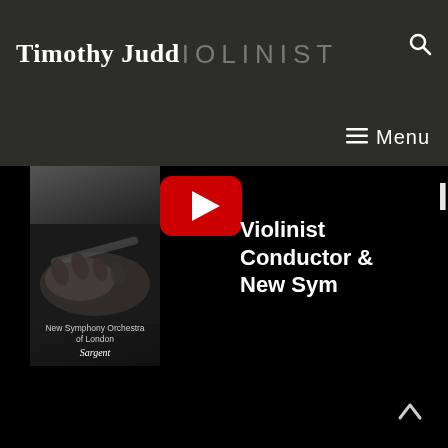Timothy Judd VIOLINIST
Menu
[Figure (screenshot): YouTube video thumbnail showing an album cover on the left with text 'New Symphony Orchestra of London Sargent' and a violin player's hands. On the right, white bold text reads 'Violinist Conductor New Sym' on black background. A red YouTube play button is visible at top center.]